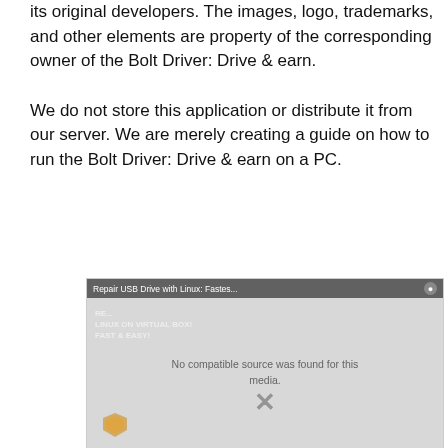its original developers. The images, logo, trademarks, and other elements are property of the corresponding owner of the Bolt Driver: Drive & earn.
We do not store this application or distribute it from our server. We are merely creating a guide on how to run the Bolt Driver: Drive & earn on a PC.
[Figure (screenshot): A video player overlay showing 'Repair USB Drive with Linux: Fastes...' in the title bar with a close button. The video shows 'No compatible source was found for this media.' message overlaid on a blurred thumbnail of a Linux VirtualBox guide. An X close button is visible in the center, and a shield/logo icon is at the bottom left.]